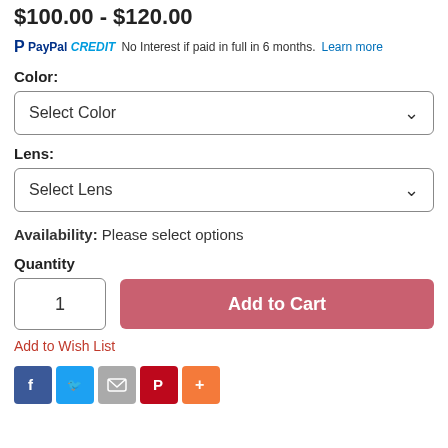$100.00 - $120.00
PayPal CREDIT  No Interest if paid in full in 6 months. Learn more
Color:
Select Color
Lens:
Select Lens
Availability: Please select options
Quantity
1
Add to Cart
Add to Wish List
[Figure (other): Social share buttons: Facebook, Twitter, Email, Pinterest, More]